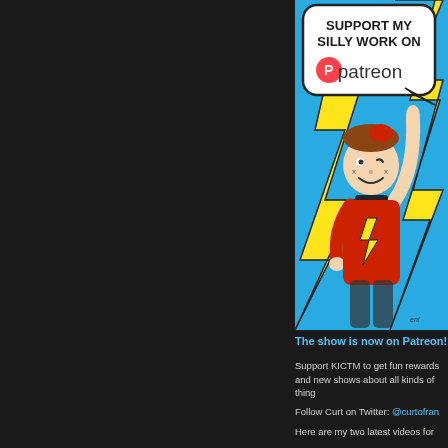[Figure (illustration): Cartoon illustration of a boy in a red lightning bolt shirt pointing upward, with a speech bubble saying 'SUPPORT MY SILLY WORK ON patreon' on a blue and yellow background, styled like a comic book advertisement for Patreon.]
The show is now on Patreon!
Support KICTM to get fun rewards and new shows about all kinds of things
Follow Curt on Twitter: @curtofran
Here are my two latest videos for